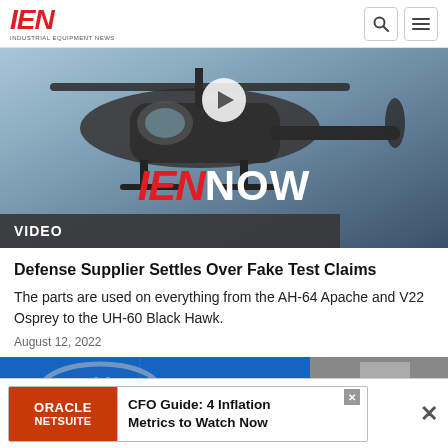IEN INDUSTRIAL EQUIPMENT NEWS
[Figure (screenshot): IEN NOW video thumbnail showing military helicopter with play button overlay and VIDEO label bar]
Defense Supplier Settles Over Fake Test Claims
The parts are used on everything from the AH-64 Apache and V22 Osprey to the UH-60 Black Hawk.
August 12, 2022
[Figure (photo): Partial view of a blue background with Hyundai logo, second article thumbnail]
ORACLE NETSUITE | CFO Guide: 4 Inflation Metrics to Watch Now